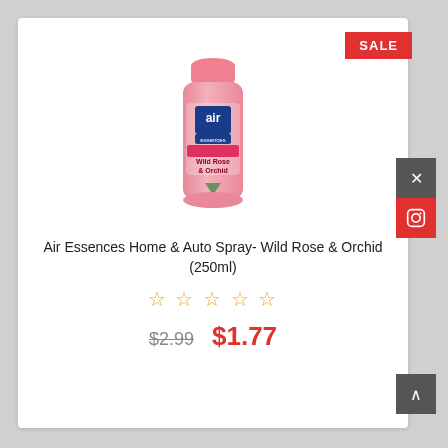[Figure (photo): Air Essences Home & Auto Spray can in pink color with Wild Rose & Orchid label]
SALE
Air Essences Home & Auto Spray- Wild Rose & Orchid (250ml)
★★★★★ (star rating, 5 empty stars)
$2.99  $1.77